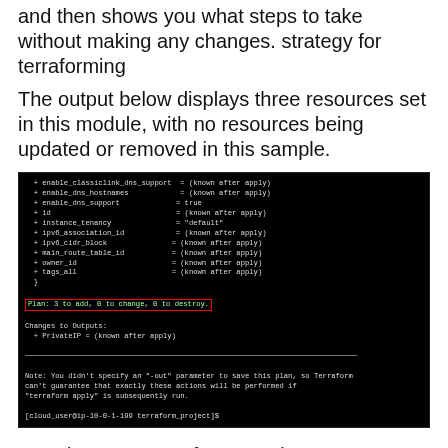and then shows you what steps to take without making any changes. strategy for terraforming
The output below displays three resources set in this module, with no resources being updated or removed in this sample.
[Figure (screenshot): Terminal screenshot showing terraform plan output with resource attributes listed (enable_classiclink_dns_support, enable_dns_hostnames, enable_dns_support, id, instance_tenancy, ipv6_association_id, ipv6_cidr_block, main_route_table_id, owner_id, tags_all), a red-boxed summary line 'Plan: 3 to add, 0 to change, 0 to destroy.', Changes to Outputs section showing PrivateIP, a separator line, a note about -out parameter, and a command prompt.]
Creating a strategy for execution